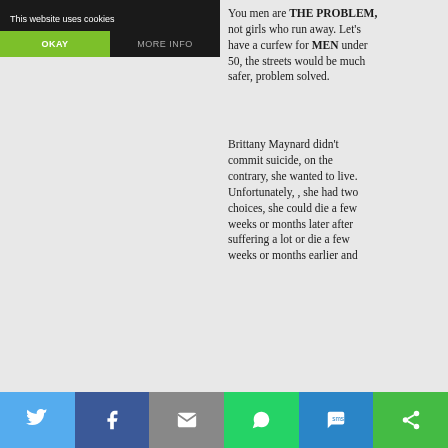[Figure (screenshot): Website cookie consent banner overlay with dark background, showing 'This website uses cookies' text, OKAY button in green, and MORE INFO button.]
You men are THE PROBLEM, not girls who run away. Let's have a curfew for MEN under 50, the streets would be much safer, problem solved.
Brittany Maynard didn't commit suicide, on the contrary, she wanted to live. Unfortunately, , she had two choices, she could die a few weeks or months later after suffering a lot or die a few weeks or months earlier and
[Figure (screenshot): Social media share bar at bottom with Twitter, Facebook, Email, WhatsApp, SMS, and other share buttons in respective brand colors.]